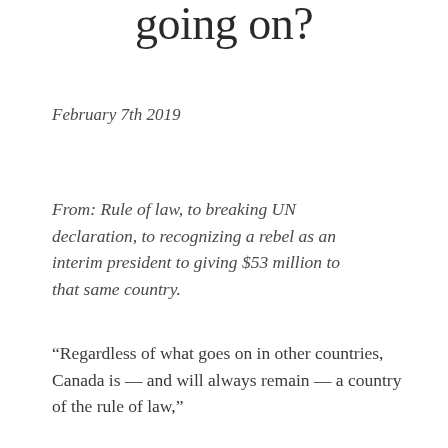going on?
February 7th 2019
From: Rule of law, to breaking UN declaration, to recognizing a rebel as an interim president to giving $53 million to that same country.
“Regardless of what goes on in other countries, Canada is — and will always remain — a country of the rule of law,”